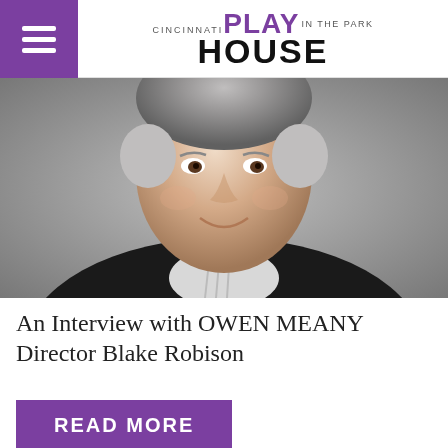Cincinnati Playhouse in the Park — PLAY HOUSE logo
[Figure (photo): Headshot of Blake Robison, a middle-aged man with gray-streaked hair, smiling, wearing a dark jacket and striped shirt, against a gray background.]
An Interview with OWEN MEANY Director Blake Robison
READ MORE